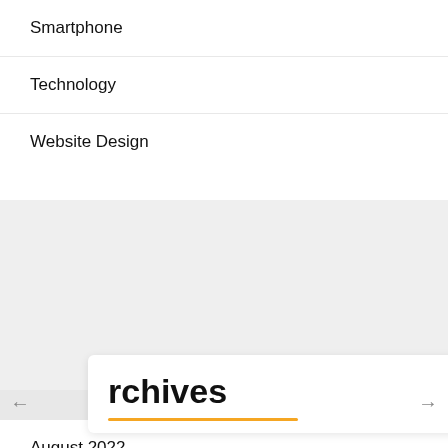Smartphone
Technology
Website Design
rchives
August 2022
July 2022
June 2022
May 2022